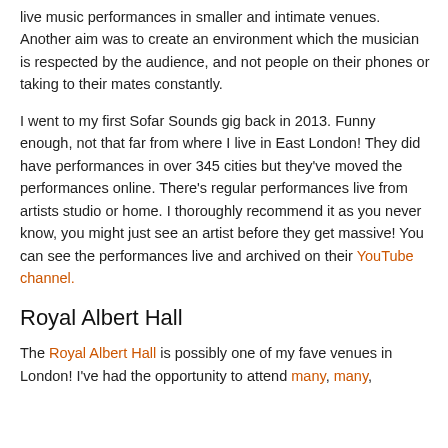live music performances in smaller and intimate venues. Another aim was to create an environment which the musician is respected by the audience, and not people on their phones or taking to their mates constantly.
I went to my first Sofar Sounds gig back in 2013. Funny enough, not that far from where I live in East London! They did have performances in over 345 cities but they've moved the performances online. There's regular performances live from artists studio or home. I thoroughly recommend it as you never know, you might just see an artist before they get massive! You can see the performances live and archived on their YouTube channel.
Royal Albert Hall
The Royal Albert Hall is possibly one of my fave venues in London! I've had the opportunity to attend many, many,